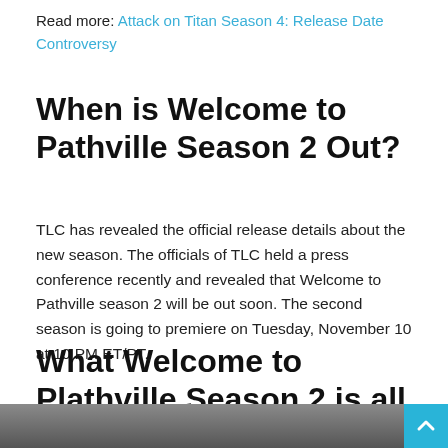Read more: Attack on Titan Season 4: Release Date Controversy
When is Welcome to Pathville Season 2 Out?
TLC has revealed the official release details about the new season. The officials of TLC held a press conference recently and revealed that Welcome to Pathville season 2 will be out soon. The second season is going to premiere on Tuesday, November 10 at 10 PM ET/PT.
What Welcome to Plathville Season 2 is all about?
[Figure (photo): Photo of people, partially visible at bottom of page]